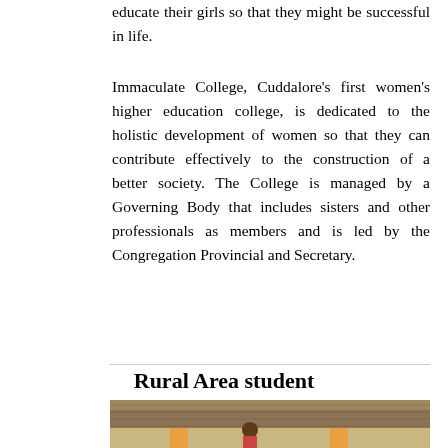educate their girls so that they might be successful in life.
Immaculate College, Cuddalore's first women's higher education college, is dedicated to the holistic development of women so that they can contribute effectively to the construction of a better society. The College is managed by a Governing Body that includes sisters and other professionals as members and is led by the Congregation Provincial and Secretary.
Rural Area student
[Figure (photo): Photo of a rural area student standing near a thatched-roof house]